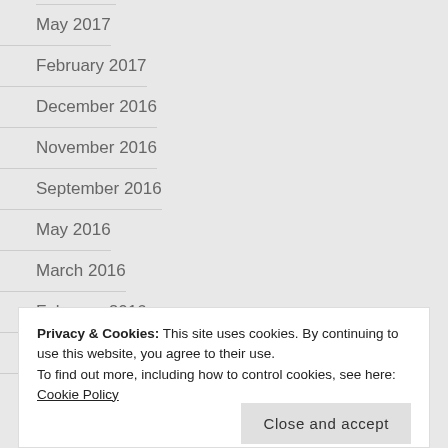May 2017
February 2017
December 2016
November 2016
September 2016
May 2016
March 2016
February 2016
January 2016
Privacy & Cookies: This site uses cookies. By continuing to use this website, you agree to their use.
To find out more, including how to control cookies, see here: Cookie Policy
Close and accept